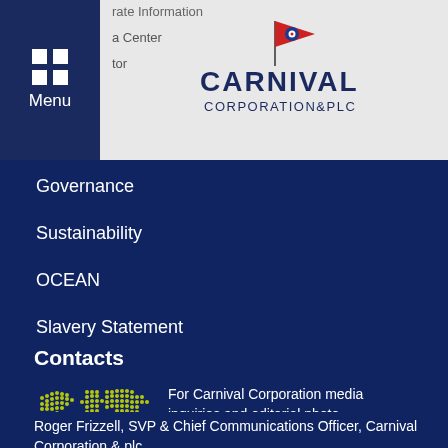Carnival Corporation & PLC
Governance
Sustainability
OCEAN
Slavery Statement
Human Rights Policy
Do Not Sell My Personal Information
Contacts
For Carnival Corporation media inquiries and editorial photo requests, please contact:
Roger Frizzell, SVP & Chief Communications Officer, Carnival Corporation & plc